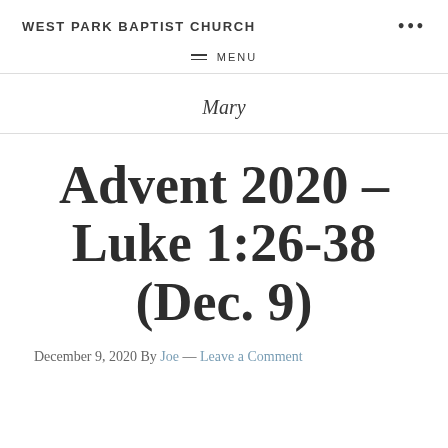WEST PARK BAPTIST CHURCH   •••
≡  MENU
Mary
Advent 2020 – Luke 1:26-38 (Dec. 9)
December 9, 2020 By Joe — Leave a Comment